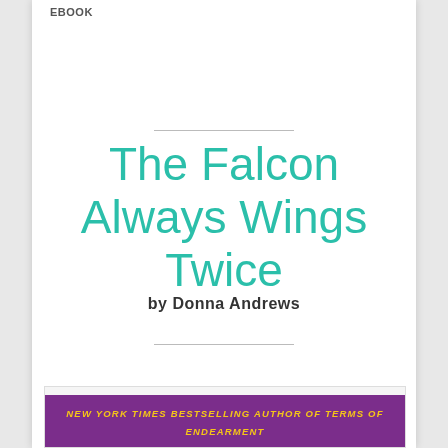EBOOK
The Falcon Always Wings Twice
by Donna Andrews
NEW YORK TIMES BESTSELLING AUTHOR OF TERMS OF ENDEARMENT